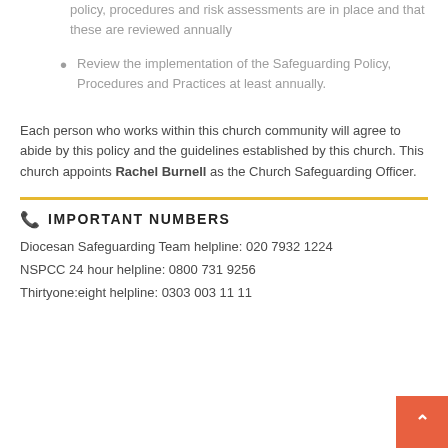policy, procedures and risk assessments are in place and that these are reviewed annually
Review the implementation of the Safeguarding Policy, Procedures and Practices at least annually.
Each person who works within this church community will agree to abide by this policy and the guidelines established by this church. This church appoints Rachel Burnell as the Church Safeguarding Officer.
IMPORTANT NUMBERS
Diocesan Safeguarding Team helpline: 020 7932 1224
NSPCC 24 hour helpline: 0800 731 9256
Thirtyone:eight helpline: 0303 003 11 11